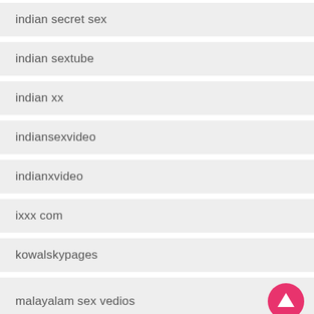indian secret sex
indian sextube
indian xx
indiansexvideo
indianxvideo
ixxx com
kowalskypages
malayalam sex vedios
malayalam xnxx